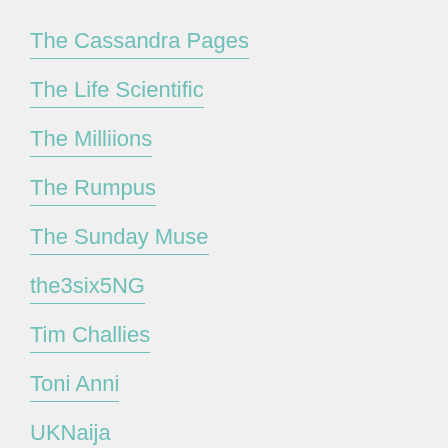The Cassandra Pages
The Life Scientific
The Milliions
The Rumpus
The Sunday Muse
the3six5NG
Tim Challies
Toni Anni
UKNaija